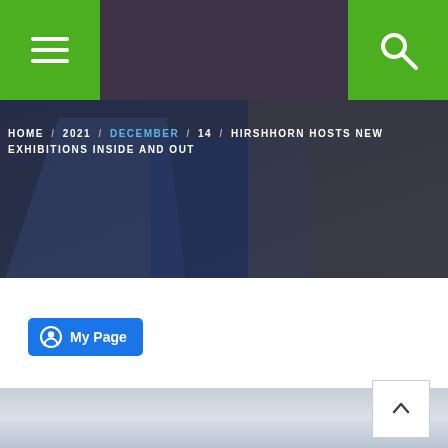[Figure (screenshot): Website navigation bar with dark purple/gray background. Green hamburger menu button on left, green search button on right.]
[Figure (photo): Hero image of Hirshhorn Museum exterior with stairs, blue steel structure, and skate area visible, overlaid with dark tint.]
HOME / 2021 / DECEMBER / 14 / HIRSHHORN HOSTS NEW EXHIBITIONS INSIDE AND OUT
[Figure (screenshot): Blue 'My Page' button with user/profile circle icon.]
[Figure (photo): Partial view of cloudy sky photo at bottom of page.]
[Figure (screenshot): White back-to-top button with upward caret arrow, positioned over bottom photo area.]